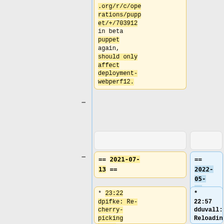.org/r/c/operations/puppet/+/703912 in beta puppet again, should only affect deployment-webperf12.
== 2021-07-13 ==
== 2022-05-05 ==
* 23:22 dpifke: Re-cherry-picking newer https://gerrit.wikimedia
* 22:57 dduvall: Reloading Zuul to deploy https://gerrit.wikimedia